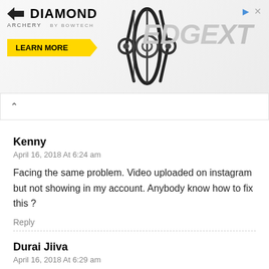[Figure (illustration): Diamond Archery advertisement banner featuring the EDGE XT product with a compound bow image, yellow 'LEARN MORE' button, and navigation/close icons in the top right corner.]
Kenny
April 16, 2018 At 6:24 am
Facing the same problem. Video uploaded on instagram but not showing in my account. Anybody know how to fix this ?
Reply
Durai Jiiva
April 16, 2018 At 6:29 am
Have you tried the method above?? Still facing the same issue?
Reply